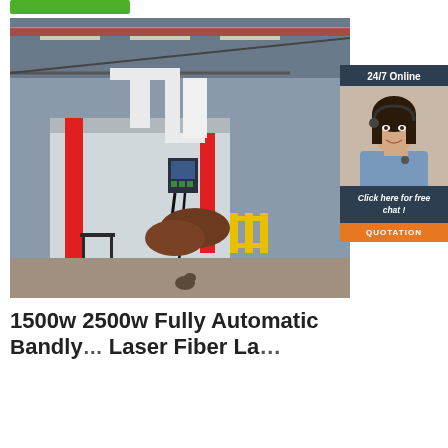[Figure (photo): Industrial CNC laser cutting machine in a factory warehouse, white and red machine body with a control panel, suspended arm system, overhead cranes visible in background]
[Figure (photo): 24/7 Online customer service agent, smiling woman with headset, with dark background overlay and orange QUOTATION button below]
1500w 2500w Fully Automatic Bandly Laser Fiber Laser...